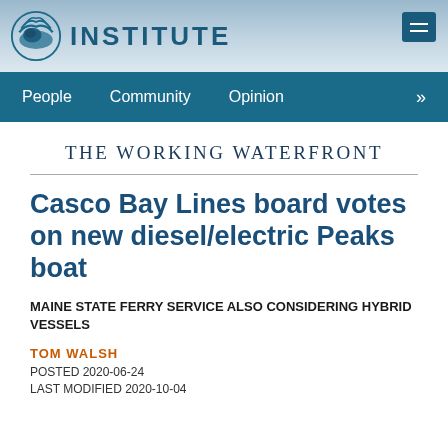[Figure (logo): Island Institute logo with stylized wave/circle graphic and the word INSTITUTE in bold teal letters, with navigation bar below showing People, Community, Opinion links]
People   Community   Opinion   »
THE WORKING WATERFRONT
Casco Bay Lines board votes on new diesel/electric Peaks boat
MAINE STATE FERRY SERVICE ALSO CONSIDERING HYBRID VESSELS
TOM WALSH
POSTED 2020-06-24
LAST MODIFIED 2020-10-04